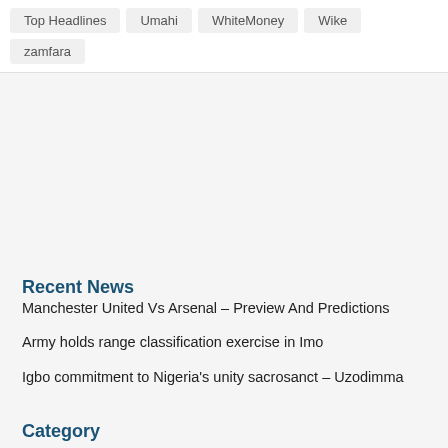Top Headlines | Umahi | WhiteMoney | Wike | zamfara
Recent News
Manchester United Vs Arsenal – Preview And Predictions
Army holds range classification exercise in Imo
Igbo commitment to Nigeria's unity sacrosanct – Uzodimma
Category
Business
Opinion
Entertainment
Politics
Metro
Sports